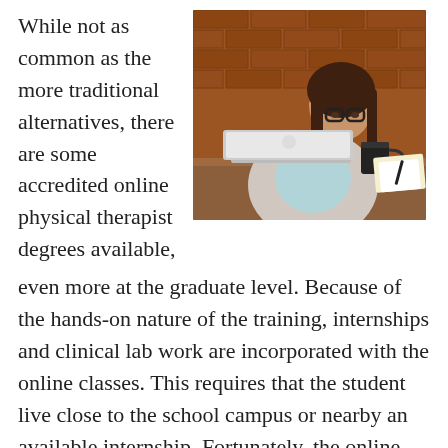While not as common as the more traditional alternatives, there are some accredited online physical therapist degrees available,
[Figure (photo): A woman with glasses and long brown hair sitting at a wooden desk working on a silver MacBook laptop, with a black coffee cup, notebook, and brick wall in the background.]
even more at the graduate level. Because of the hands-on nature of the training, internships and clinical lab work are incorporated with the online classes. This requires that the student live close to the school campus or nearby an available internship. Fortunately, the online part of the course of study may be accessed within the convenience and comfort of the student's Harvest AL home. Online schools are not only to some extent more accessible, but in many cases more affordable. Tuition may be somewhat less than comparable on campus options, and expenses for commuting are reduced. And many of the online programs